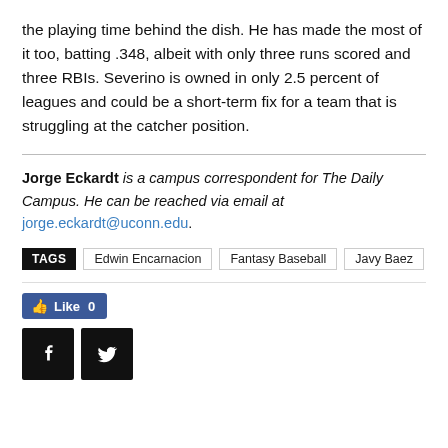the playing time behind the dish. He has made the most of it too, batting .348, albeit with only three runs scored and three RBIs. Severino is owned in only 2.5 percent of leagues and could be a short-term fix for a team that is struggling at the catcher position.
Jorge Eckardt is a campus correspondent for The Daily Campus. He can be reached via email at jorge.eckardt@uconn.edu.
TAGS  Edwin Encarnacion  Fantasy Baseball  Javy Baez
[Figure (other): Facebook Like button showing 0 likes, and Facebook and Twitter share buttons]